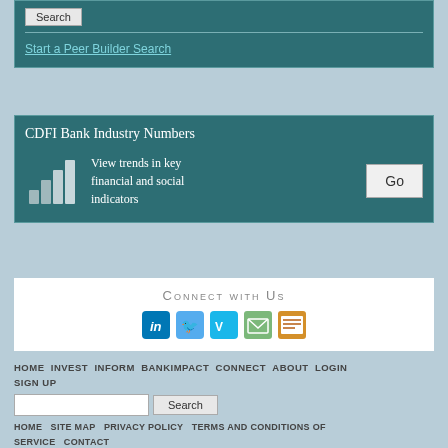Search
Start a Peer Builder Search
CDFI Bank Industry Numbers
View trends in key financial and social indicators
Go
Connect with Us
HOME  INVEST  INFORM  BANKIMPACT  CONNECT  ABOUT  LOGIN  SIGN UP
Search
HOME  SITE MAP  PRIVACY POLICY  TERMS AND CONDITIONS OF SERVICE  CONTACT
312-662-6096
©2013-2022 NATIONAL COMMUNITY INVESTMENT FUND – ALL RIGHTS RESERVED